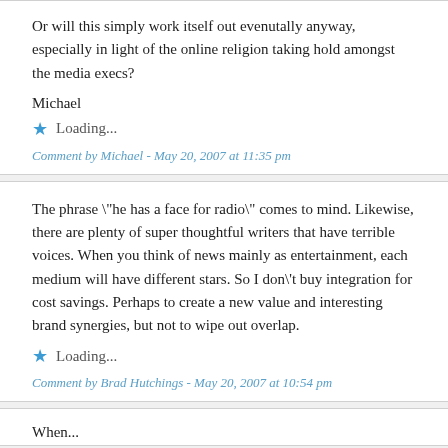Or will this simply work itself out evenutally anyway, especially in light of the online religion taking hold amongst the media execs?
Michael
Loading...
Comment by Michael - May 20, 2007 at 11:35 pm
The phrase \"he has a face for radio\" comes to mind. Likewise, there are plenty of super thoughtful writers that have terrible voices. When you think of news mainly as entertainment, each medium will have different stars. So I don\'t buy integration for cost savings. Perhaps to create a new value and interesting brand synergies, but not to wipe out overlap.
Loading...
Comment by Brad Hutchings - May 20, 2007 at 10:54 pm
When...